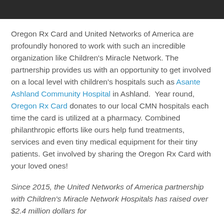[Figure (photo): Dark horizontal photo strip at the top of the page, appearing to show people in an indoor setting.]
Oregon Rx Card and United Networks of America are profoundly honored to work with such an incredible organization like Children's Miracle Network. The partnership provides us with an opportunity to get involved on a local level with children's hospitals such as Asante Ashland Community Hospital in Ashland.  Year round, Oregon Rx Card donates to our local CMN hospitals each time the card is utilized at a pharmacy. Combined philanthropic efforts like ours help fund treatments, services and even tiny medical equipment for their tiny patients. Get involved by sharing the Oregon Rx Card with your loved ones!
Since 2015, the United Networks of America partnership with Children's Miracle Network Hospitals has raised over $2.4 million dollars for